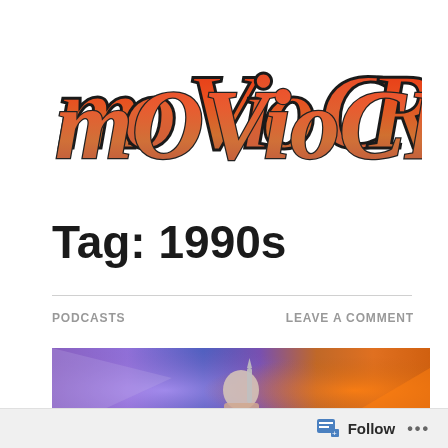[Figure (logo): Movieocrity logo in stylized horror/grunge font with red-orange gradient fill and dark outline]
Tag: 1990s
PODCASTS
LEAVE A COMMENT
[Figure (photo): Movie scene still showing a bald figure in pink/purple robes holding a rocket or missile against a purple and orange fiery background]
Follow ...